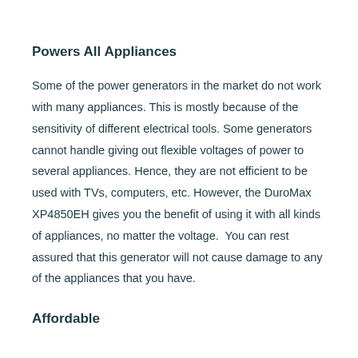Powers All Appliances
Some of the power generators in the market do not work with many appliances. This is mostly because of the sensitivity of different electrical tools. Some generators cannot handle giving out flexible voltages of power to several appliances. Hence, they are not efficient to be used with TVs, computers, etc. However, the DuroMax XP4850EH gives you the benefit of using it with all kinds of appliances, no matter the voltage.  You can rest assured that this generator will not cause damage to any of the appliances that you have.
Affordable